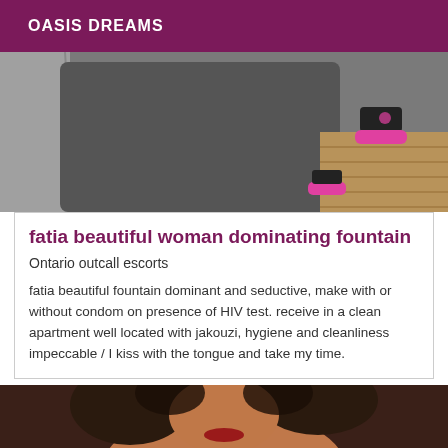OASIS DREAMS
[Figure (photo): Partial photo showing a person in dark clothing with pink shoes on a wooden floor background, cropped at mid-section]
fatia beautiful woman dominating fountain
Ontario outcall escorts
fatia beautiful fountain dominant and seductive, make with or without condom on presence of HIV test. receive in a clean apartment well located with jakouzi, hygiene and cleanliness impeccable / I kiss with the tongue and take my time.
[Figure (photo): Partial photo showing a woman with curly dark hair, cropped at the top, visible from shoulders up]